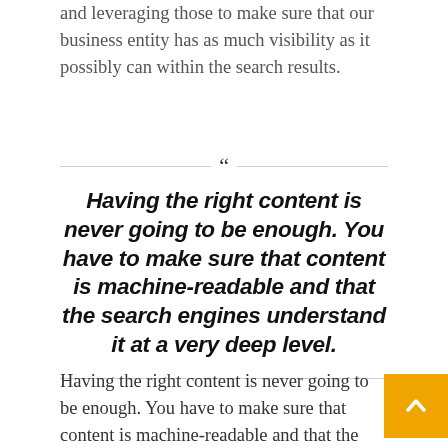and leveraging those to make sure that our business entity has as much visibility as it possibly can within the search results.
Having the right content is never going to be enough. You have to make sure that content is machine-readable and that the search engines understand it at a very deep level.
Having the right content is never going to be enough. You have to make sure that content is machine-readable and that the search engines